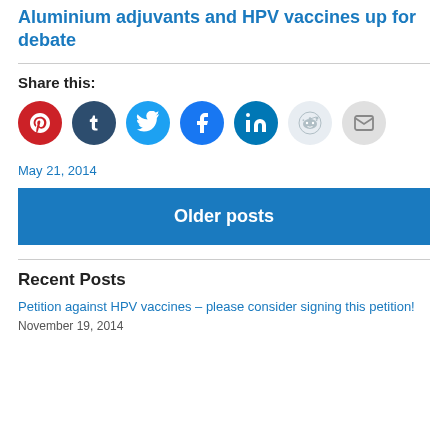Aluminium adjuvants and HPV vaccines up for debate
Share this:
[Figure (infographic): Row of social media sharing icons: Pinterest (red), Tumblr (dark blue), Twitter (light blue), Facebook (blue), LinkedIn (teal blue), Reddit (light gray), Email (gray)]
May 21, 2014
Older posts
Recent Posts
Petition against HPV vaccines – please consider signing this petition!
November 19, 2014